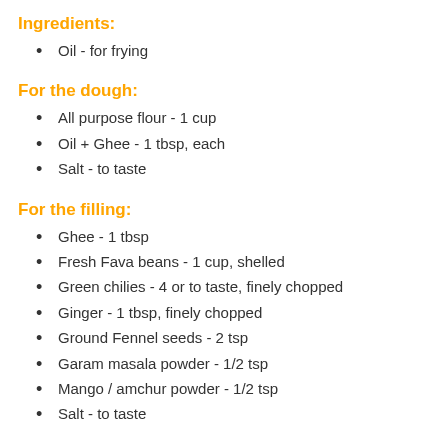Ingredients:
Oil - for frying
For the dough:
All purpose flour - 1 cup
Oil + Ghee - 1 tbsp, each
Salt - to taste
For the filling:
Ghee - 1 tbsp
Fresh Fava beans - 1 cup, shelled
Green chilies - 4 or to taste, finely chopped
Ginger - 1 tbsp, finely chopped
Ground Fennel seeds - 2 tsp
Garam masala powder - 1/2 tsp
Mango / amchur powder - 1/2 tsp
Salt - to taste